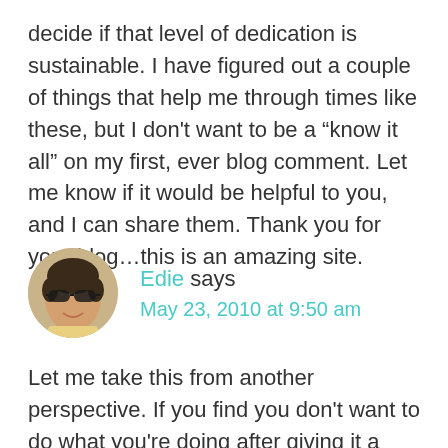decide if that level of dedication is sustainable. I have figured out a couple of things that help me through times like these, but I don't want to be a “know it all” on my first, ever blog comment. Let me know if it would be helpful to you, and I can share them. Thank you for your blog…this is an amazing site.
[Figure (photo): Circular avatar photo of a woman with short hair wearing sunglasses, outdoors]
Edie says
May 23, 2010 at 9:50 am
Let me take this from another perspective. If you find you don’t want to do what you’re doing after giving it a good shot — and